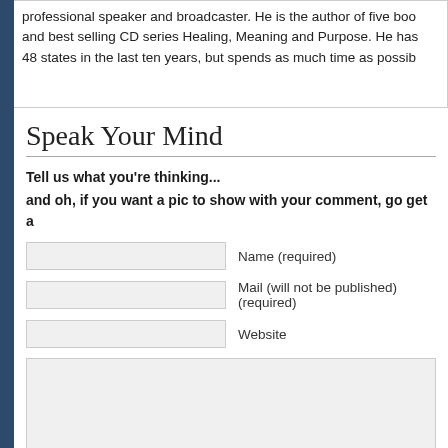professional speaker and broadcaster. He is the author of five books and best selling CD series Healing, Meaning and Purpose. He has 48 states in the last ten years, but spends as much time as possib
Speak Your Mind
Tell us what you're thinking...
and oh, if you want a pic to show with your comment, go get a
Name (required)
Mail (will not be published) (required)
Website